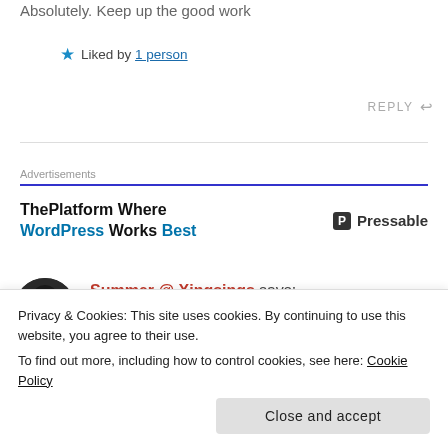Absolutely. Keep up the good work
★ Liked by 1 person
REPLY ↩
Advertisements
ThePlatform Where WordPress Works Best — Pressable
Summer @ Xingsings says:
FEBRUARY 11, 2017 AT 7:15 PM
Privacy & Cookies: This site uses cookies. By continuing to use this website, you agree to their use.
To find out more, including how to control cookies, see here: Cookie Policy
Close and accept